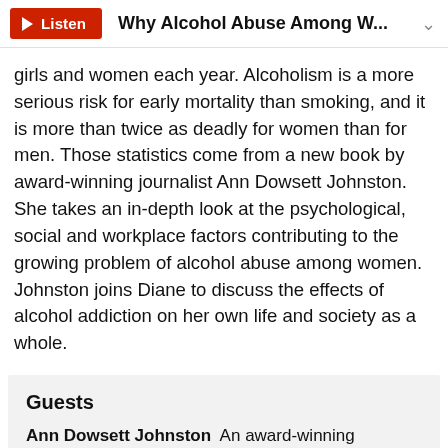Listen  Why Alcohol Abuse Among W...
girls and women each year. Alcoholism is a more serious risk for early mortality than smoking, and it is more than twice as deadly for women than for men. Those statistics come from a new book by award-winning journalist Ann Dowsett Johnston. She takes an in-depth look at the psychological, social and workplace factors contributing to the growing problem of alcohol abuse among women. Johnston joins Diane to discuss the effects of alcohol addiction on her own life and society as a whole.
Guests
Ann Dowsett Johnston  An award-winning journalist and former editor at Maclean's magazine and vice-principal at McGill University.